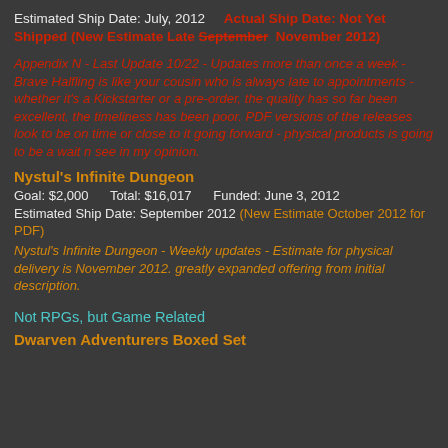Estimated Ship Date: July, 2012    Actual Ship Date: Not Yet Shipped (New Estimate Late September  November 2012)
Appendix N - Last Update 10/22 - Updates more than once a week - Brave Halfling is like your cousin who is always late to appointments - whether it's a Kickstarter or a pre-order, the quality has so far been excellent, the timeliness has been poor. PDF versions of the releases look to be on time or close to it going forward - physical products is going to be a wait n see in my opinion.
Nystul's Infinite Dungeon
Goal: $2,000    Total: $16,017    Funded: June 3, 2012
Estimated Ship Date: September 2012 (New Estimate October 2012 for PDF)
Nystul's Infinite Dungeon - Weekly updates - Estimate for physical delivery is November 2012. greatly expanded offering from initial description.
Not RPGs, but Game Related
Dwarven Adventurers Boxed Set